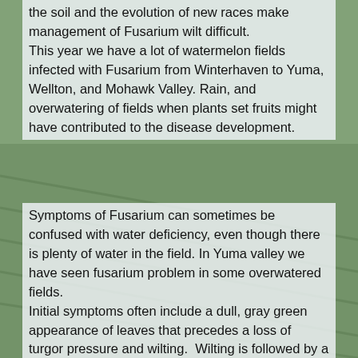the soil and the evolution of new races make management of Fusarium wilt difficult. This year we have a lot of watermelon fields infected with Fusarium from Winterhaven to Yuma, Wellton, and Mohawk Valley. Rain, and overwatering of fields when plants set fruits might have contributed to the disease development.
Symptoms of Fusarium can sometimes be confused with water deficiency, even though there is plenty of water in the field. In Yuma valley we have seen fusarium problem in some overwatered fields. Initial symptoms often include a dull, gray green appearance of leaves that precedes a loss of turgor pressure and wilting. Wilting is followed by a yellowing of the leaves and finally necrosis. The wilting generally starts with the older leaves and progresses to the younger foliage. Under conditions of high inoculum density or a very susceptible host, the entire plant may wilt and die.